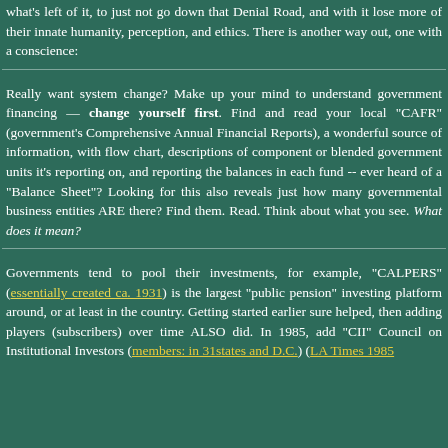what's left of it, to just not go down that Denial Road, and with it lose more of their innate humanity, perception, and ethics. There is another way out, one with a conscience:
Really want system change? Make up your mind to understand government financing -- change yourself first. Find and read your local "CAFR" (government's Comprehensive Annual Financial Reports), a wonderful source of information, with flow chart, descriptions of component or blended government units it's reporting on, and reporting the balances in each fund -- ever heard of a "Balance Sheet"? Looking for this also reveals just how many governmental business entities ARE there? Find them. Read. Think about what you see. What does it mean?
Governments tend to pool their investments, for example, "CALPERS" (essentially created ca. 1931) is the largest "public pension" investing platform around, or at least in the country. Getting started earlier sure helped, then adding players (subscribers) over time ALSO did. In 1985, add "CII" Council on Institutional Investors (members: in 31states and D.C.) (LA Times 1985